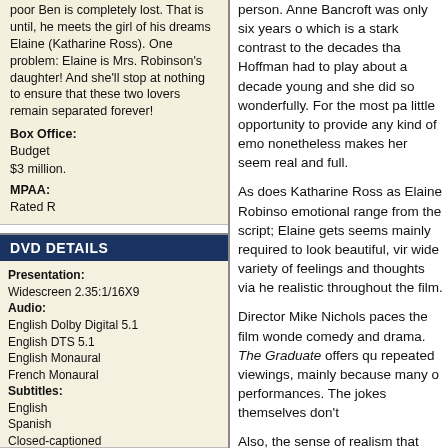poor Ben is completely lost. That is until, he meets the girl of his dreams Elaine (Katharine Ross). One problem: Elaine is Mrs. Robinson's daughter! And she'll stop at nothing to ensure that these two lovers remain separated forever!
Box Office:
Budget
$3 million.
MPAA:
Rated R
DVD DETAILS
Presentation:
Widescreen 2.35:1/16X9
Audio:
English Dolby Digital 5.1
English DTS 5.1
English Monaural
French Monaural
Subtitles:
English
Spanish
Closed-captioned
Supplements Subtitles:
None

Runtime: 106 min.
Price: $24.98
Release Date: 9/11/2007

Bonus:
• Audio Commentary with Director Mike Nichols and Filmmaker
person. Anne Bancroft was only six years older which is a stark contrast to the decades that Hoffman had to play about a decade younger and she did so wonderfully. For the most part little opportunity to provide any kind of emotional nonetheless makes her seem real and full.
As does Katharine Ross as Elaine Robinson emotional range from the script; Elaine gets seems mainly required to look beautiful, vir wide variety of feelings and thoughts via he realistic throughout the film.
Director Mike Nichols paces the film wonderfully comedy and drama. The Graduate offers qu repeated viewings, mainly because many o performances. The jokes themselves don't
Also, the sense of realism that pervades the closely examines the film, one could easily aspects that could detract from its truth, but whole that such criticisms are largely rende best and most enduring film of the Sixties, b
The DVD Grades: P
The Graduate appears in an aspect ratio of layered DVD; the image has been enhanced this transfer offered a satisfying experience